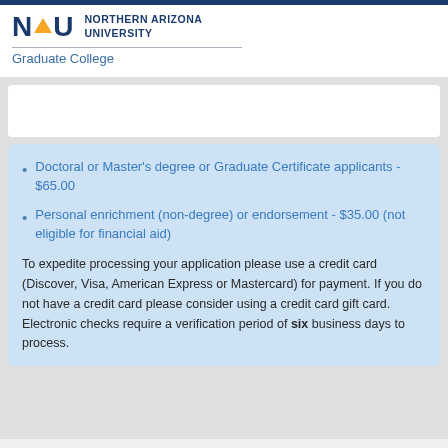NAU NORTHERN ARIZONA UNIVERSITY
Graduate College
Doctoral or Master's degree or Graduate Certificate applicants - $65.00
Personal enrichment (non-degree) or endorsement - $35.00 (not eligible for financial aid)
To expedite processing your application please use a credit card (Discover, Visa, American Express or Mastercard) for payment. If you do not have a credit card please consider using a credit card gift card. Electronic checks require a verification period of six business days to process.